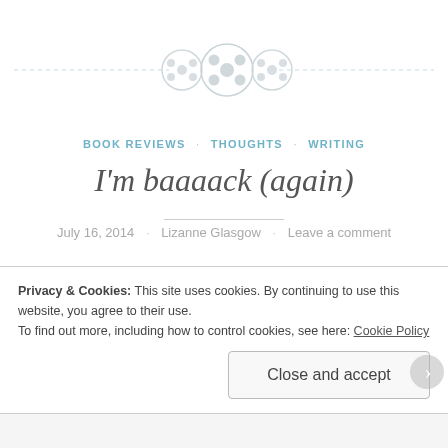[Figure (illustration): Decorative divider with three button/circle icons centered on a dashed horizontal line]
BOOK REVIEWS · THOUGHTS · WRITING
I'm baaaack (again)
July 16, 2014 · Lizanne Glasgow · Leave a comment
Wow, so it's been a long time since I last blogged. I've
missed this, but quite honestly, I've had an extremely
Privacy & Cookies: This site uses cookies. By continuing to use this website, you agree to their use.
To find out more, including how to control cookies, see here: Cookie Policy
Close and accept